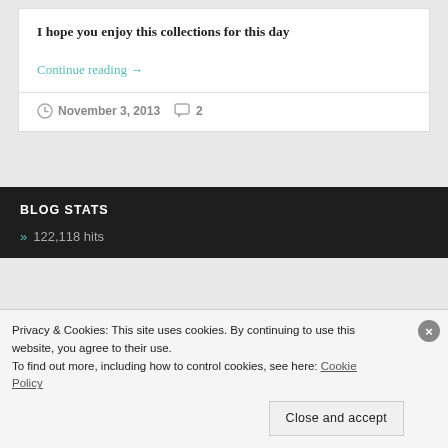I hope you enjoy this collections for this day
Continue reading →
November 3, 2013   2
BLOG STATS
» 122,118 hits
Privacy & Cookies: This site uses cookies. By continuing to use this website, you agree to their use.
To find out more, including how to control cookies, see here: Cookie Policy
Close and accept